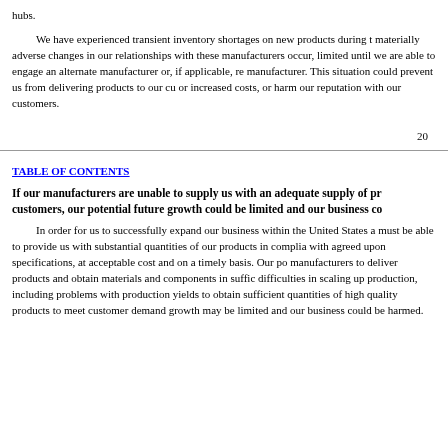hubs.
We have experienced transient inventory shortages on new products during the ramp-up period and if materially adverse changes in our relationships with these manufacturers occur, our supply could be limited until we are able to engage an alternate manufacturer or, if applicable, re-engage the original manufacturer. This situation could prevent us from delivering products to our customers, causing delays or increased costs, or harm our reputation with our customers.
20
TABLE OF CONTENTS
If our manufacturers are unable to supply us with an adequate supply of products to meet the needs of our customers, our potential future growth could be limited and our business could be harmed.
In order for us to successfully expand our business within the United States and internationally, they must be able to provide us with substantial quantities of our products in compliance with regulatory requirements, with agreed upon specifications, at acceptable cost and on a timely basis. Our potential future growth could strain our manufacturers to deliver products and obtain materials and components in sufficient quantities. We may experience difficulties in scaling up production, including problems with production yields and quality control, and the inability to obtain sufficient quantities of high quality products to meet customer demand. As a result, our potential future growth may be limited and our business could be harmed.